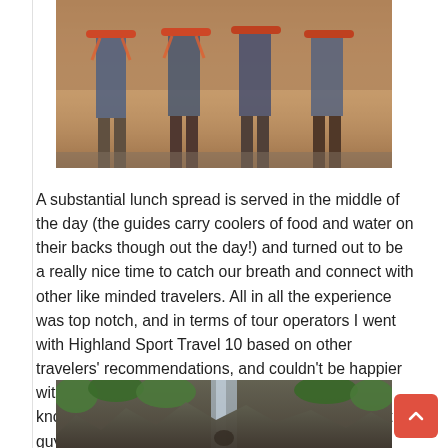[Figure (photo): Group of people wearing harnesses/safety gear, viewed from torso down, outdoors in sunlight on a tour activity]
A substantial lunch spread is served in the middle of the day (the guides carry coolers of food and water on their backs though out the day!) and turned out to be a really nice time to catch our breath and connect with other like minded travelers. All in all the experience was top notch, and in terms of tour operators I went with Highland Sport Travel 10 based on other travelers' recommendations, and couldn't be happier with my choice. Our guides were super knowledgeable, safe, hilarious and all around great guys, which always makes an experience like this even better.
[Figure (photo): Outdoor waterfall scene with rocky cliff face and green vegetation, a person visible at the bottom]